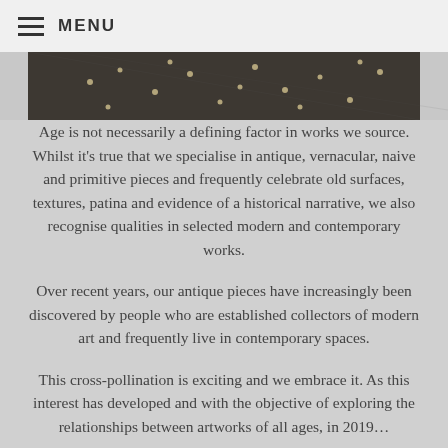MENU
[Figure (photo): Dark textured fabric or tapestry with small floral/star pattern detail, partially visible at top of page]
Age is not necessarily a defining factor in works we source. Whilst it’s true that we specialise in antique, vernacular, naive and primitive pieces and frequently celebrate old surfaces, textures, patina and evidence of a historical narrative, we also recognise qualities in selected modern and contemporary works.
Over recent years, our antique pieces have increasingly been discovered by people who are established collectors of modern art and frequently live in contemporary spaces.
This cross-pollination is exciting and we embrace it. As this interest has developed and with the objective of exploring the relationships between artworks of all ages, in 2019…